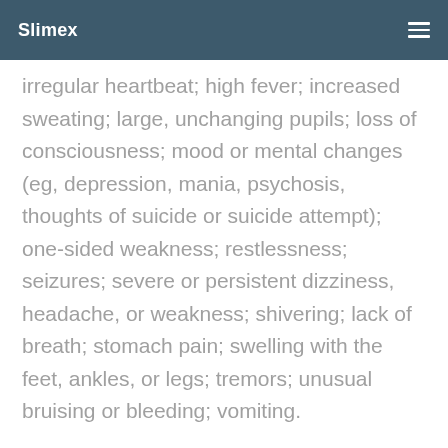Slimex
irregular heartbeat; high fever; increased sweating; large, unchanging pupils; loss of consciousness; mood or mental changes (eg, depression, mania, psychosis, thoughts of suicide or suicide attempt); one-sided weakness; restlessness; seizures; severe or persistent dizziness, headache, or weakness; shivering; lack of breath; stomach pain; swelling with the feet, ankles, or legs; tremors; unusual bruising or bleeding; vomiting.